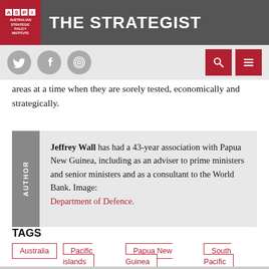THE STRATEGIST — ASPI Australian Strategic Policy Institute
areas at a time when they are sorely tested, economically and strategically.
AUTHOR — Jeffrey Wall has had a 43-year association with Papua New Guinea, including as an adviser to prime ministers and senior ministers and as a consultant to the World Bank. Image: Department of Defence.
TAGS
Australia
Pacific islands
Papua New Guinea
South Pacific